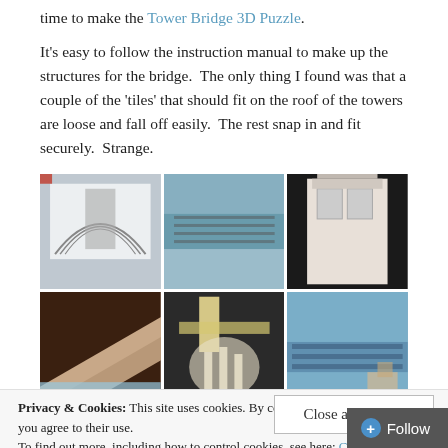time to make the Tower Bridge 3D Puzzle.
It’s easy to follow the instruction manual to make up the structures for the bridge. The only thing I found was that a couple of the ‘tiles’ that should fit on the roof of the towers are loose and fall off easily. The rest snap in and fit securely. Strange.
[Figure (photo): Six photos arranged in a 3x2 grid showing stages of constructing a Tower Bridge 3D puzzle: instruction booklet, bridge deck pieces, tower facade, diagonal pieces, puzzle pieces, and side sections.]
Privacy & Cookies: This site uses cookies. By continuing to use this website, you agree to their use.
To find out more, including how to control cookies, see here: Cookie Policy
Close and accept
⊕ Follow